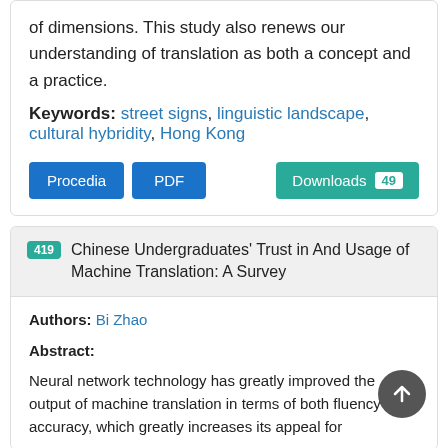of dimensions. This study also renews our understanding of translation as both a concept and a practice.
Keywords: street signs, linguistic landscape, cultural hybridity, Hong Kong
Procedia | PDF | Downloads 49
419 Chinese Undergraduates' Trust in And Usage of Machine Translation: A Survey
Authors: Bi Zhao
Abstract:
Neural network technology has greatly improved the output of machine translation in terms of both fluency and accuracy, which greatly increases its appeal for